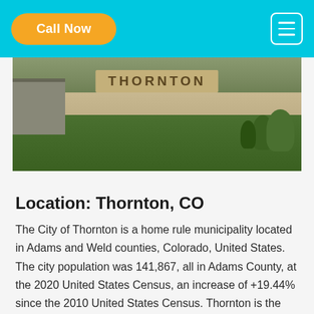Call Now
[Figure (photo): Outdoor photo of a Thornton city sign on a stone wall with green grass and landscaping in the background]
Location: Thornton, CO
The City of Thornton is a home rule municipality located in Adams and Weld counties, Colorado, United States. The city population was 141,867, all in Adams County, at the 2020 United States Census, an increase of +19.44% since the 2010 United States Census. Thornton is the sixth most populous city in Colorado and the 191st most populous city in the United States.